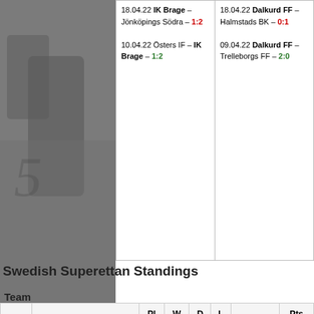[Figure (photo): Black and white background photo of football/soccer players on the left side of the page]
| Left matches | Right matches |
| --- | --- |
| 18.04.22 IK Brage – Jönköpings Södra – 1:2 | 18.04.22 Dalkurd FF – Halmstads BK – 0:1 |
| 10.04.22 Östers IF – IK Brage – 1:2 | 09.04.22 Dalkurd FF – Trelleborgs FF – 2:0 |
Swedish Superettan Standings
Team
|  |  | Pl | W | D | L |  | Pts |
| --- | --- | --- | --- | --- | --- | --- | --- |
| 1 | AFC Eskilstuna | 6 | 5 | 0 | 1 | 18:11 | 15 |
| 2 | Brage | 6 | 4 | 1 | 1 | 15:6 | 13 |
| 3 | Osters | 6 | 4 | 1 | 1 | 11:4 | 13 |